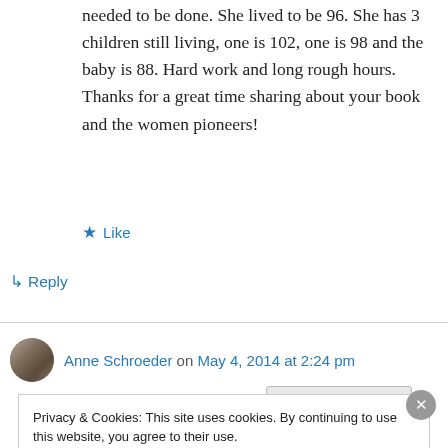needed to be done. She lived to be 96. She has 3 children still living, one is 102, one is 98 and the baby is 88. Hard work and long rough hours. Thanks for a great time sharing about your book and the women pioneers!
★ Like
↳ Reply
Anne Schroeder on May 4, 2014 at 2:24 pm
Privacy & Cookies: This site uses cookies. By continuing to use this website, you agree to their use. To find out more, including how to control cookies, see here: Cookie Policy
Close and accept